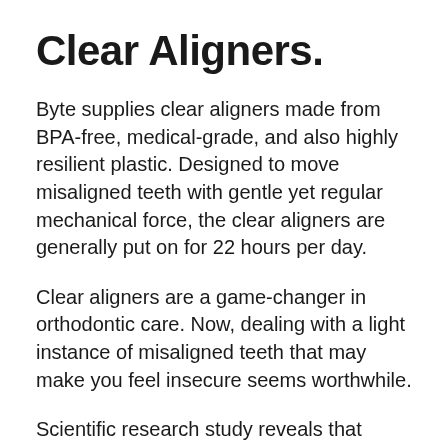Clear Aligners.
Byte supplies clear aligners made from BPA-free, medical-grade, and also highly resilient plastic. Designed to move misaligned teeth with gentle yet regular mechanical force, the clear aligners are generally put on for 22 hours per day.
Clear aligners are a game-changer in orthodontic care. Now, dealing with a light instance of misaligned teeth that may make you feel insecure seems worthwhile.
Scientific research study reveals that aligners can efficiently straighten teeth in light to modest instances. One review found